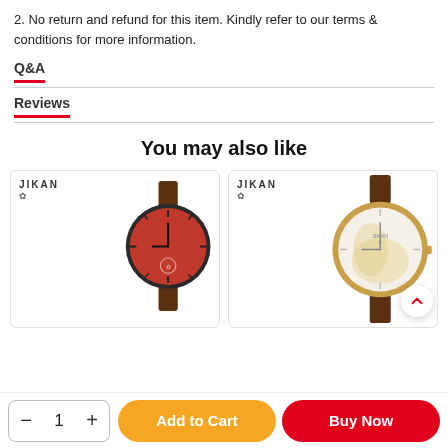2. No return and refund for this item. Kindly refer to our terms & conditions for more information.
Q&A
Reviews
You may also like
[Figure (photo): JIKAN branded watch with red dial and brown leather strap]
[Figure (photo): JIKAN branded watch with gold/cream marble dial and brown leather strap]